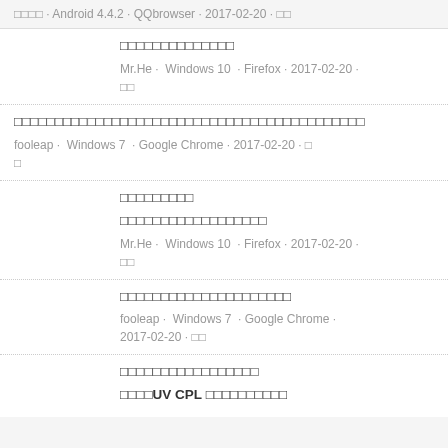□□□□ · Android 4.4.2 · QQbrowser · 2017-02-20 · □□
□□□□□□□□□□□□□□
Mr.He · Windows 10 · Firefox · 2017-02-20 · □□
□□□□□□□□□□□□□□□□□□□□□□□□□□□□□□□□□□□□□□□□□□□
fooleap · Windows 7 · Google Chrome · 2017-02-20 · □□
□□□□□□□□□
□□□□□□□□□□□□□□□□□□
Mr.He · Windows 10 · Firefox · 2017-02-20 · □□
□□□□□□□□□□□□□□□□□□□□□
fooleap · Windows 7 · Google Chrome · 2017-02-20 · □□
□□□□□□□□□□□□□□□□□
□□□□UV CPL □□□□□□□□□□